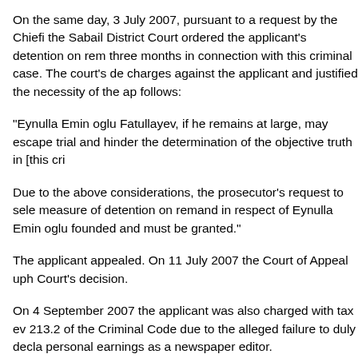On the same day, 3 July 2007, pursuant to a request by the Chief the Sabail District Court ordered the applicant's detention on rem three months in connection with this criminal case. The court's de charges against the applicant and justified the necessity of the ap follows:
“Eynulla Emin oglu Fatullayev, if he remains at large, may escape trial and hinder the determination of the objective truth in [this cri
Due to the above considerations, the prosecutor’s request to sele measure of detention on remand in respect of Eynulla Emin oglu founded and must be granted.”
The applicant appealed. On 11 July 2007 the Court of Appeal uph Court’s decision.
On 4 September 2007 the applicant was also charged with tax ev 213.2 of the Criminal Code due to the alleged failure to duly decla personal earnings as a newspaper editor.
During the trial, among other evidence, the prosecution produced that in May 2007 the full electronic version of “The Aliyevs Go to W forwarded by e-mail to offices of a number of foreign and local co